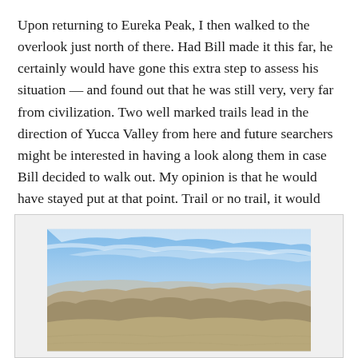Upon returning to Eureka Peak, I then walked to the overlook just north of there. Had Bill made it this far, he certainly would have gone this extra step to assess his situation — and found out that he was still very, very far from civilization. Two well marked trails lead in the direction of Yucca Valley from here and future searchers might be interested in having a look along them in case Bill decided to walk out. My opinion is that he would have stayed put at that point. Trail or no trail, it would obviously have been a waterless, shadeless bridge too far.
[Figure (photo): Panoramic landscape photo showing a desert mountain range with rugged brown hills in the foreground and a wide valley extending into the distance under a partly cloudy blue sky.]